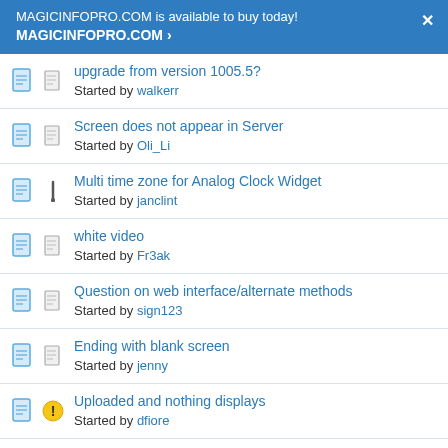MAGICINFOPRO.COM is available to buy today! MAGICINFOPRO.COM >
upgrade from version 1005.5?
Started by walkerr
Screen does not appear in Server
Started by Oli_Li
Multi time zone for Analog Clock Widget
Started by janclint
white video
Started by Fr3ak
Question on web interface/alternate methods
Started by sign123
Ending with blank screen
Started by jenny
Uploaded and nothing displays
Started by dfiore
Admin rights